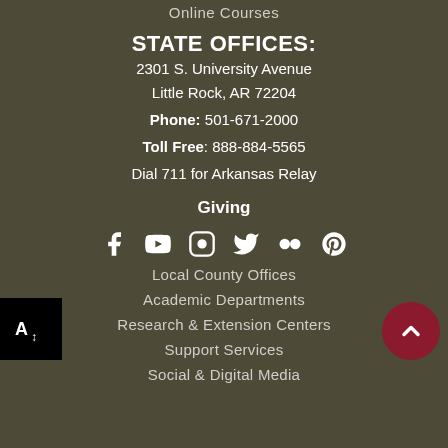Online Courses
STATE OFFICES:
2301 S. University Avenue
Little Rock, AR 72204
Phone: 501-671-2000
Toll Free: 888-884-5565
Dial 711 for Arkansas Relay
Giving
[Figure (infographic): Social media icons: Facebook, YouTube, Instagram, Twitter, Flickr, Pinterest]
Local County Offices
Academic Departments
Research & Extension Centers
Support Services
Social & Digital Media